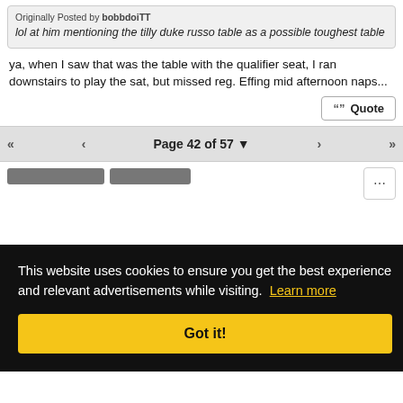Originally Posted by bobbdoitt
lol at him mentioning the tilly duke russo table as a possible toughest table
ya, when I saw that was the table with the qualifier seat, I ran downstairs to play the sat, but missed reg. Effing mid afternoon naps...
Quote
Page 42 of 57
This website uses cookies to ensure you get the best experience and relevant advertisements while visiting. Learn more
Got it!